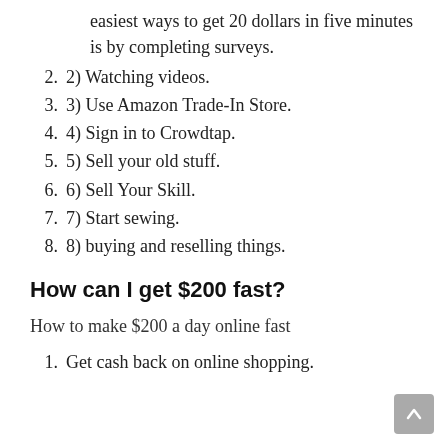1) completing the survey. One of the easiest ways to get 20 dollars in five minutes is by completing surveys.
2. 2) Watching videos.
3. 3) Use Amazon Trade-In Store.
4. 4) Sign in to Crowdtap.
5. 5) Sell your old stuff.
6. 6) Sell Your Skill.
7. 7) Start sewing.
8. 8) buying and reselling things.
How can I get $200 fast?
How to make $200 a day online fast
1. Get cash back on online shopping.